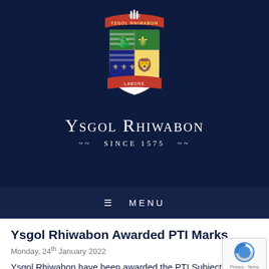[Figure (logo): Ysgol Rhiwabon school crest/coat of arms with red banner reading 'YSGOL RHIWABON' at top, heraldic shield with four quadrants showing a red dragon, fleur-de-lis, and lion, and a banner at the bottom reading 'LABORE']
YSGOL RHIWABON
~ SINCE 1575 ~
≡  MENU
Ysgol Rhiwabon Awarded PTI Marks
Monday, 24th January 2022
Ysgol Rhiwabon have been awarded the PTI Subject